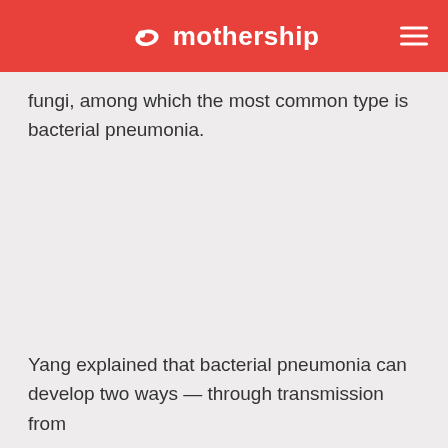mothership
fungi, among which the most common type is bacterial pneumonia.
Yang explained that bacterial pneumonia can develop two ways — through transmission from